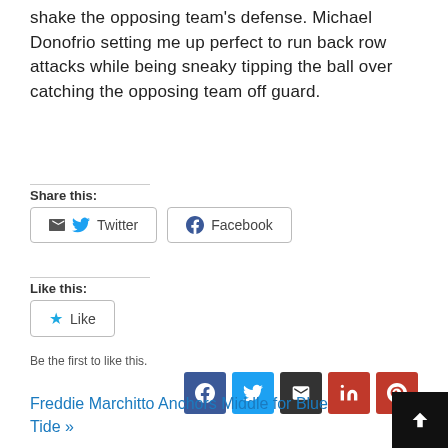shake the opposing team's defense. Michael Donofrio setting me up perfect to run back row attacks while being sneaky tipping the ball over catching the opposing team off guard.
Share this:
Twitter  Facebook
Like this:
Like
Be the first to like this.
Freddie Marchitto Anchors Middle for Blue Tide »